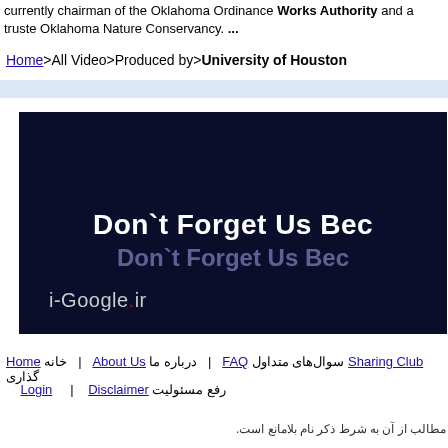currently chairman of the Oklahoma Ordinance Works Authority and a trustee Oklahoma Nature Conservancy. ...
Home>All Video>Produced by>University of Houston
[Figure (screenshot): Dark navy blue video thumbnail showing text 'Don`t Forget Us Because' in white bold letters with a shadowed repeat below, and watermark 'i-Google.ir' at bottom left with a red dot]
Home خانه | About Us درباره ما | FAQ سوال‌های متداول Sharing Club گذاری | Login | Disclaimer رفع مسئولیت
مطالب از آن به شرط ذکر نام بلامانع است.